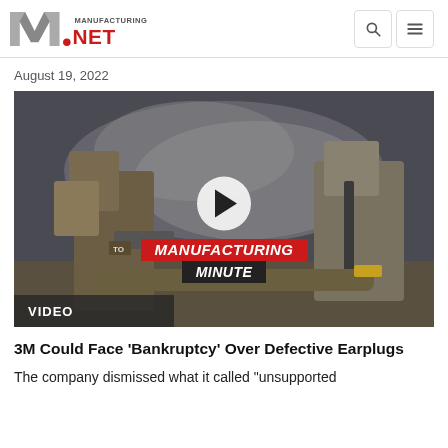Manufacturing.Net
August 19, 2022
[Figure (screenshot): Video thumbnail showing soldiers in military gear with smoke in background, with a white play button circle overlay, MANUFACTURING MINUTE branding in red and black text, and a VIDEO label bar at the bottom left.]
3M Could Face 'Bankruptcy' Over Defective Earplugs
The company dismissed what it called "unsupported